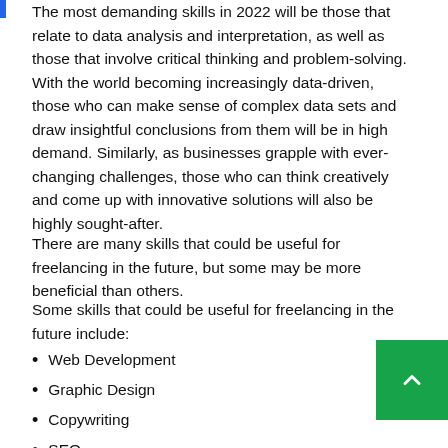The most demanding skills in 2022 will be those that relate to data analysis and interpretation, as well as those that involve critical thinking and problem-solving. With the world becoming increasingly data-driven, those who can make sense of complex data sets and draw insightful conclusions from them will be in high demand. Similarly, as businesses grapple with ever-changing challenges, those who can think creatively and come up with innovative solutions will also be highly sought-after.
There are many skills that could be useful for freelancing in the future, but some may be more beneficial than others.
Some skills that could be useful for freelancing in the future include:
Web Development
Graphic Design
Copywriting
SEO
Marketing